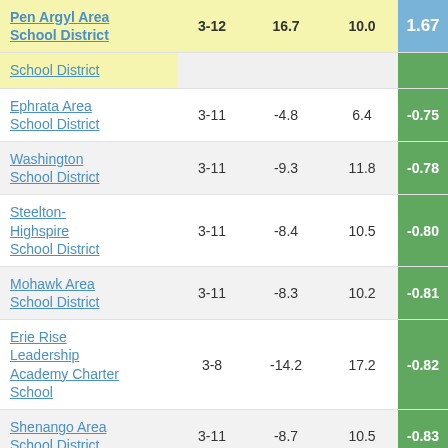| School District | Grades | Col3 | Col4 | Score |
| --- | --- | --- | --- | --- |
| Pen Argyl Area School District | 3-12 | 16.7 | 10.0 | 1.67 |
| School District |  |  |  |  |
| Ephrata Area School District | 3-11 | -4.8 | 6.4 | -0.75 |
| Washington School District | 3-11 | -9.3 | 11.8 | -0.78 |
| Steelton-Highspire School District | 3-11 | -8.4 | 10.5 | -0.80 |
| Mohawk Area School District | 3-11 | -8.3 | 10.2 | -0.81 |
| Erie Rise Leadership Academy Charter School | 3-8 | -14.2 | 17.2 | -0.82 |
| Shenango Area School District | 3-11 | -8.7 | 10.5 | -0.83 |